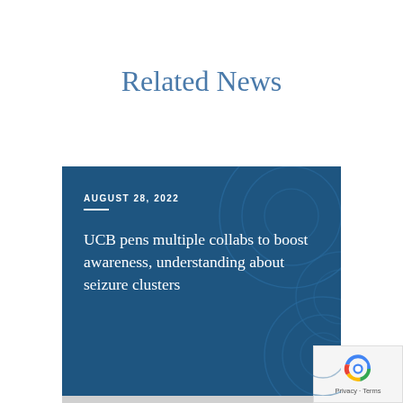Related News
[Figure (illustration): A dark blue news card with decorative circular swirl patterns in a lighter blue. The card displays the date 'AUGUST 28, 2022' in white uppercase text with a short white horizontal line beneath it, followed by the headline 'UCB pens multiple collabs to boost awareness, understanding about seizure clusters' in white serif text.]
LIFE SCIENCES